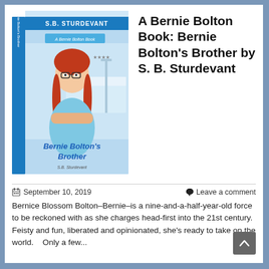[Figure (photo): 3D book cover for 'Bernie Bolton's Brother' by S.B. Sturdevant, showing a red-haired girl with braids, glasses, and arms crossed, wearing a blue dress, in a hospital room setting.]
A Bernie Bolton Book: Bernie Bolton's Brother by S. B. Sturdevant
September 10, 2019
Leave a comment
Bernice Blossom Bolton–Bernie–is a nine-and-a-half-year-old force to be reckoned with as she charges head-first into the 21st century. Feisty and fun, liberated and opinionated, she's ready to take on the world.    Only a few...